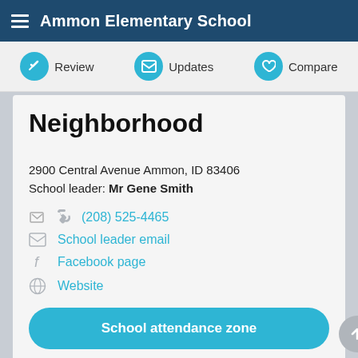Ammon Elementary School
Neighborhood
2900 Central Avenue Ammon, ID 83406
School leader: Mr Gene Smith
(208) 525-4465
School leader email
Facebook page
Website
School attendance zone
Nearby homes